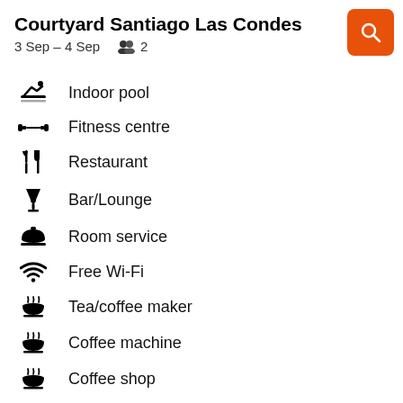Courtyard Santiago Las Condes
3 Sep – 4 Sep   👥 2
Indoor pool
Fitness centre
Restaurant
Bar/Lounge
Room service
Free Wi-Fi
Tea/coffee maker
Coffee machine
Coffee shop